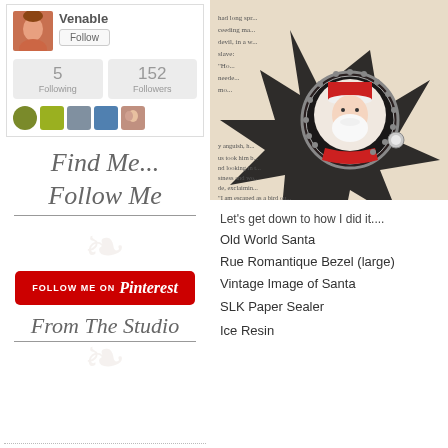[Figure (screenshot): User profile section showing avatar photo, 'Venable' name, Follow button, 5 Following and 152 Followers stats, and small thumbnail images]
[Figure (illustration): Cursive script text reading 'Find Me... Follow Me' with underline]
[Figure (logo): Red Pinterest follow button with 'FOLLOW ME ON Pinterest' text]
[Figure (illustration): Cursive script text reading 'From The Studio' with underline and decorative leaf watermark]
[Figure (photo): Close-up photo of an ornate jewelry piece featuring a vintage Old World Santa image in a decorative bezel set against text pages]
Let's get down to how I did it....
Old World Santa
Rue Romantique Bezel (large)
Vintage Image of Santa
SLK Paper Sealer
Ice Resin